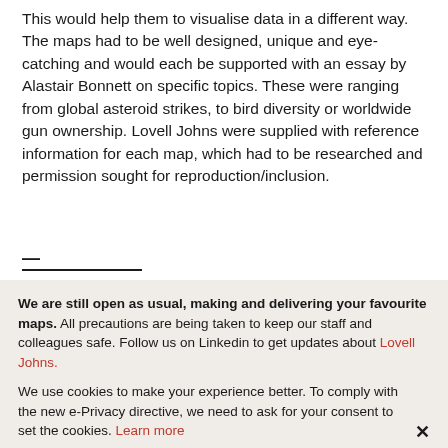This would help them to visualise data in a different way. The maps had to be well designed, unique and eye-catching and would each be supported with an essay by Alastair Bonnett on specific topics. These were ranging from global asteroid strikes, to bird diversity or worldwide gun ownership. Lovell Johns were supplied with reference information for each map, which had to be researched and permission sought for reproduction/inclusion.
—
We are still open as usual, making and delivering your favourite maps. All precautions are being taken to keep our staff and colleagues safe. Follow us on Linkedin to get updates about Lovell Johns.
We use cookies to make your experience better. To comply with the new e-Privacy directive, we need to ask for your consent to set the cookies. Learn more
Accept & Continue